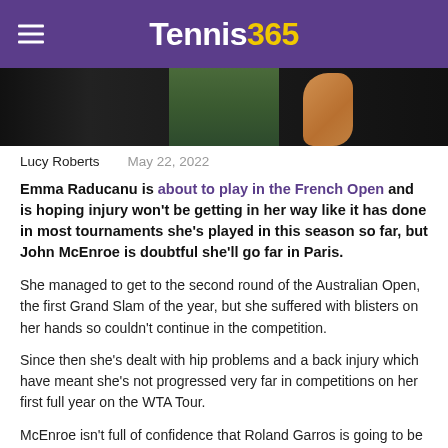Tennis365
[Figure (photo): Photo strip of a tennis player wearing dark green outfit, partial view showing torso and arm]
Lucy Roberts   May 22, 2022
Emma Raducanu is about to play in the French Open and is hoping injury won't be getting in her way like it has done in most tournaments she's played in this season so far, but John McEnroe is doubtful she'll go far in Paris.
She managed to get to the second round of the Australian Open, the first Grand Slam of the year, but she suffered with blisters on her hands so couldn't continue in the competition.
Since then she's dealt with hip problems and a back injury which have meant she's not progressed very far in competitions on her first full year on the WTA Tour.
McEnroe isn't full of confidence that Roland Garros is going to be the time when the 19-year-old can turn her recent form around.